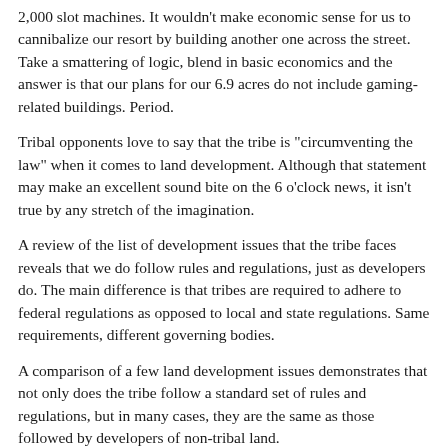2,000 slot machines. It wouldn't make economic sense for us to cannibalize our resort by building another one across the street. Take a smattering of logic, blend in basic economics and the answer is that our plans for our 6.9 acres do not include gaming-related buildings. Period.
Tribal opponents love to say that the tribe is "circumventing the law" when it comes to land development. Although that statement may make an excellent sound bite on the 6 o'clock news, it isn't true by any stretch of the imagination.
A review of the list of development issues that the tribe faces reveals that we do follow rules and regulations, just as developers do. The main difference is that tribes are required to adhere to federal regulations as opposed to local and state regulations. Same requirements, different governing bodies.
A comparison of a few land development issues demonstrates that not only does the tribe follow a standard set of rules and regulations, but in many cases, they are the same as those followed by developers of non-tribal land.
Under the topic of life safety, fire, mechanical and plumbing are all administered by the same governing bodies for both tribal and non-tribal land: Uniform Fire Code, Uniform Mechanical Code and Uniform Plumbing Code, among others.